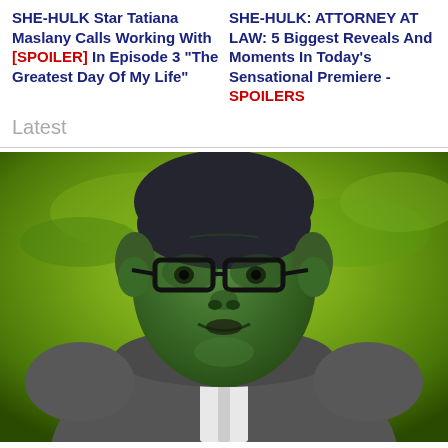SHE-HULK Star Tatiana Maslany Calls Working With [SPOILER] In Episode 3 "The Greatest Day Of My Life"
SHE-HULK: ATTORNEY AT LAW: 5 Biggest Reveals And Moments In Today's Sensational Premiere - SPOILERS
Latest
[Figure (photo): Photo of a CGI green-skinned Hulk character wearing glasses and a grey hoodie, against a green background]
JoshWilding
6 hours ago